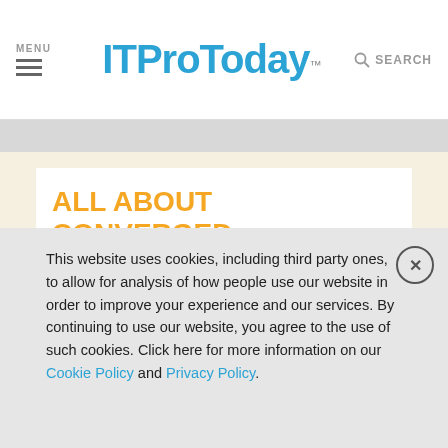MENU | ITProToday™ | SEARCH
ALL ABOUT CONVERGED ARCHITECTURE
[Figure (screenshot): Strip of four thumbnail images showing various dark photography scenes]
This website uses cookies, including third party ones, to allow for analysis of how people use our website in order to improve your experience and our services. By continuing to use our website, you agree to the use of such cookies. Click here for more information on our Cookie Policy and Privacy Policy.